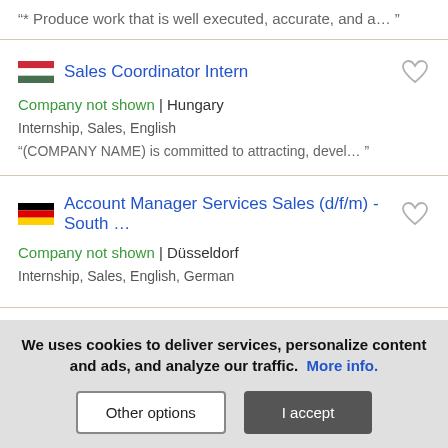"* Produce work that is well executed, accurate, and a... "
Sales Coordinator Intern
Company not shown | Hungary
Internship, Sales, English
"(COMPANY NAME) is committed to attracting, devel... "
Account Manager Services Sales (d/f/m) - South ...
Company not shown | Düsseldorf
Internship, Sales, English, German
We uses cookies to deliver services, personalize content and ads, and analyze our traffic. More info.